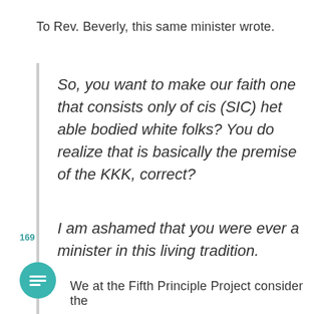To Rev. Beverly, this same minister wrote.
So, you want to make our faith one that consists only of cis (SIC) het able bodied white folks? You do realize that is basically the premise of the KKK, correct?
I am ashamed that you were ever a minister in this living tradition.
169
We at the Fifth Principle Project consider the